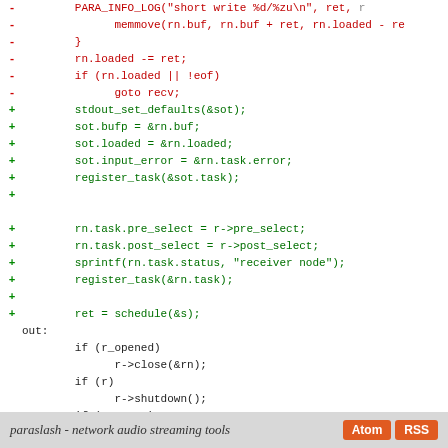[Figure (screenshot): Code diff view showing removed (red, minus) and added (green, plus) lines of C source code, with highlighted tokens PARA_STRERROR in red background and para_strerror and 'ret < 0? EXIT_FAILURE : EXIT_SUCCESS' in green background.]
paraslash - network audio streaming tools  [Atom] [RSS]